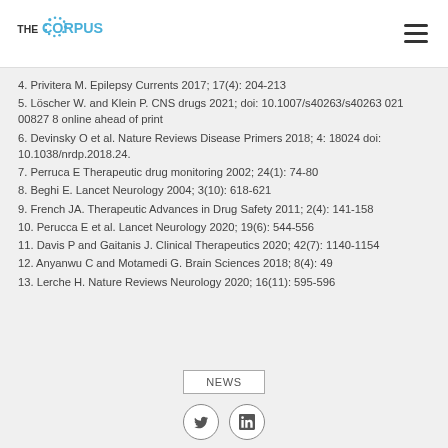THE CORPUS
4. Privitera M. Epilepsy Currents 2017; 17(4): 204-213
5. Löscher W. and Klein P. CNS drugs 2021; doi: 10.1007/s40263/s40263 021 00827 8 online ahead of print
6. Devinsky O et al. Nature Reviews Disease Primers 2018; 4: 18024 doi: 10.1038/nrdp.2018.24.
7. Perruca E Therapeutic drug monitoring 2002; 24(1): 74-80
8. Beghi E. Lancet Neurology 2004; 3(10): 618-621
9. French JA. Therapeutic Advances in Drug Safety 2011; 2(4): 141-158
10. Perucca E et al. Lancet Neurology 2020; 19(6): 544-556
11. Davis P and Gaitanis J. Clinical Therapeutics 2020; 42(7): 1140-1154
12. Anyanwu C and Motamedi G. Brain Sciences 2018; 8(4): 49
13. Lerche H. Nature Reviews Neurology 2020; 16(11): 595-596
NEWS